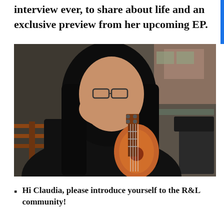interview ever, to share about life and an exclusive preview from her upcoming EP.
[Figure (photo): A young woman with long black hair and glasses, wearing a black top, holding a ukulele. She is covering her mouth with one hand, sitting in front of a wooden railing and glass wall, with a cafe/restaurant interior visible in the background.]
Hi Claudia, please introduce yourself to the R&L community!